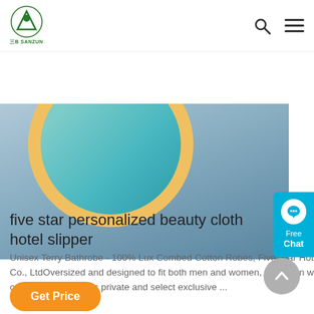三B SANZUN
[Figure (screenshot): Website screenshot showing a blue-grey hero banner with a circular element in teal and gold border at top left, partially cropped]
five star personalized beauty cloth hotel slipper
Unisex Terry Bathrobe - 100% Lux Combed Cotton Robes, Five-Star Hotel Choice 738 $94 95 FREE Shipping by Jiangsu Sanzun New Material Industry Co., LtdOversized and designed to fit both men and women, this clean white hotel-style robe is so soft and absorbent you will both want 1. Top rated from our brands Amazon's private and select exclusive ...
Get Price